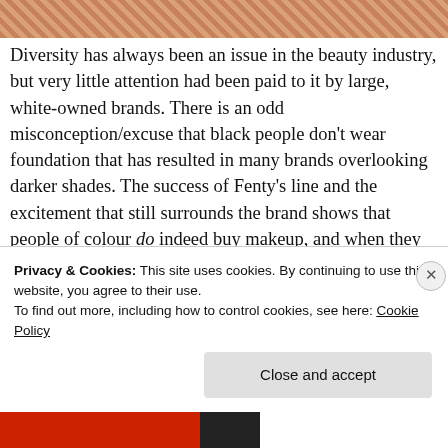[Figure (photo): Partial image of a beauty/makeup product at the top of the page, showing warm pinkish-brown tones]
Diversity has always been an issue in the beauty industry, but very little attention had been paid to it by large, white-owned brands. There is an odd misconception/excuse that black people don't wear foundation that has resulted in many brands overlooking darker shades. The success of Fenty's line and the excitement that still surrounds the brand shows that people of colour do indeed buy makeup, and when they find a range that caters to them, they're going spend some serious money. It took an industry disruptor and a prominent person
Privacy & Cookies: This site uses cookies. By continuing to use this website, you agree to their use.
To find out more, including how to control cookies, see here: Cookie Policy
Close and accept